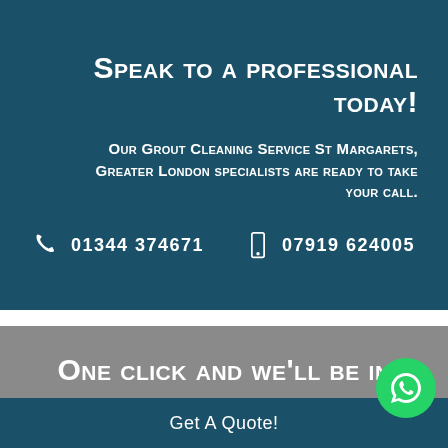Speak to a professional today!
Our Grout Cleaning Service St Margarets, Greater London specialists are ready to take your call.
01344 374671   07919 624005
One click and we'll be in touch
Get A Quote!